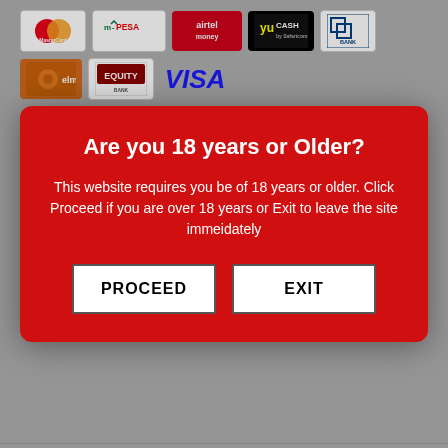[Figure (logo): Payment method logos: MasterCard, M-PESA, Airtel Money, YU Cash, Co-operative Bank, Elma, Equity Bank, VISA]
SOYS KENYA
Soys Kenya is an online shopping website offering some amazing products at competitive prices, with options to pay via MPESA, Airtel Money, Co-operative Bank, Equity Bank, MasterCard and Visa. Shop for your favourite products, health products, cosmetic products, locally and internationally recognized best selling brands like Garnier, L'Oreal Paris, Nivea, Revlon, Glenmorangie, Malibu, Baileys, Kahlua, Courvoisier, Frangie, Myrec... Browse through our products featured on our site with expert descriptions to help you arrive at the right buying decision. Soys also offers free home delivery (based on transaction value) for many of our products in Nairobi. Get the best prices and the best online shopping experience every time, guaranteed.
[Figure (screenshot): Age verification modal dialog with red background. Title: 'Are you 18 years or Older?' Body text: 'This website requires you be of 18 years or older. Click Proceed if you are over 18 years or Exit to leave the site immeidately'. Two buttons: PROCEED and EXIT.]